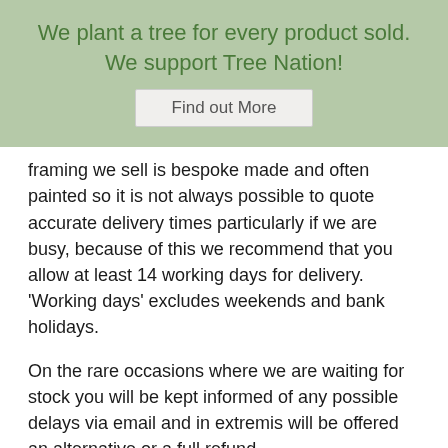We plant a tree for every product sold. We support Tree Nation!
Find out More
framing we sell is bespoke made and often painted so it is not always possible to quote accurate delivery times particularly if we are busy, because of this we recommend that you allow at least 14 working days for delivery.  'Working days' excludes weekends and bank holidays.
On the rare occasions where we are waiting for stock you will be kept informed of any possible delays via email and in extremis will be offered an alternative or a full refund.
Deadlines
Whilst we do our best to deliver orders in a timely manner we cannot guarantee delivery by any particular date or deadline unless previously agreed in